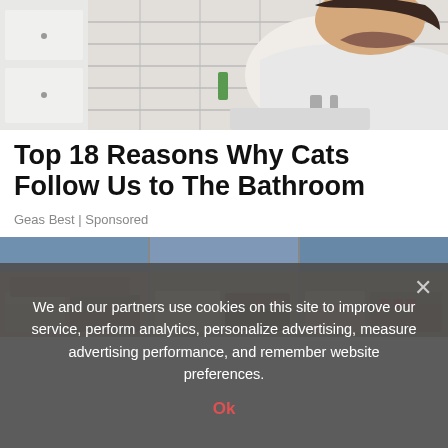[Figure (photo): Man in white t-shirt leaning over a bathroom sink, white subway tile wall behind him, white cabinet/drawer unit on the left side]
Top 18 Reasons Why Cats Follow Us to The Bathroom
Geas Best | Sponsored
[Figure (photo): Large furniture showroom filled with rows of sofas, sectionals, and couches in various colors including brown, tan, cream, and red, photographed as a three-panel composite]
We and our partners use cookies on this site to improve our service, perform analytics, personalize advertising, measure advertising performance, and remember website preferences.
Ok